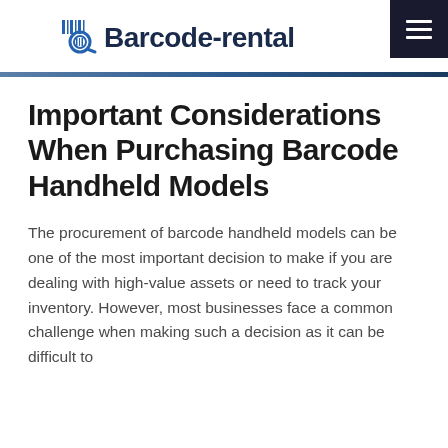Barcode-rental
Important Considerations When Purchasing Barcode Handheld Models
The procurement of barcode handheld models can be one of the most important decision to make if you are dealing with high-value assets or need to track your inventory. However, most businesses face a common challenge when making such a decision as it can be difficult to